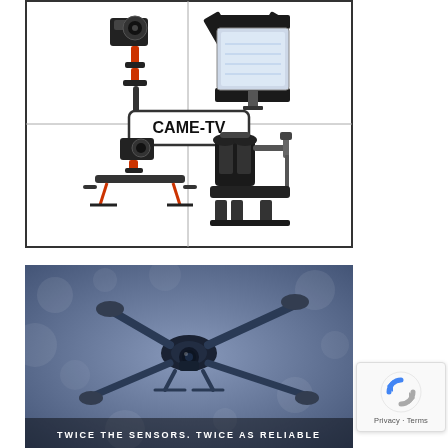[Figure (illustration): CAME-TV branded product grid showing four camera equipment items: top-left is a handheld gimbal stabilizer with camera, top-right is a studio LED light panel with barn doors, bottom-left is a motorized camera slider/dolly with gimbal, bottom-right is a camera vest stabilizer system with arm and sled. CAME-TV logo in center.]
[Figure (photo): A DJI Mavic-style drone photographed against a blurred bokeh background with the text 'TWICE THE SENSORS. TWICE AS RELIABLE' overlaid at the bottom.]
[Figure (other): Google reCAPTCHA badge with spinning arrows icon and 'Privacy · Terms' text.]